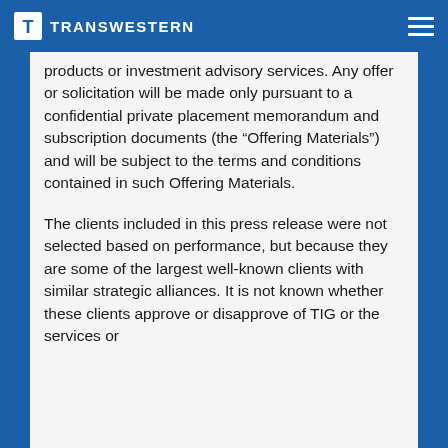TRANSWESTERN
products or investment advisory services. Any offer or solicitation will be made only pursuant to a confidential private placement memorandum and subscription documents (the “Offering Materials”) and will be subject to the terms and conditions contained in such Offering Materials.
The clients included in this press release were not selected based on performance, but because they are some of the largest well-known clients with similar strategic alliances. It is not known whether these clients approve or disapprove of TIG or the services or